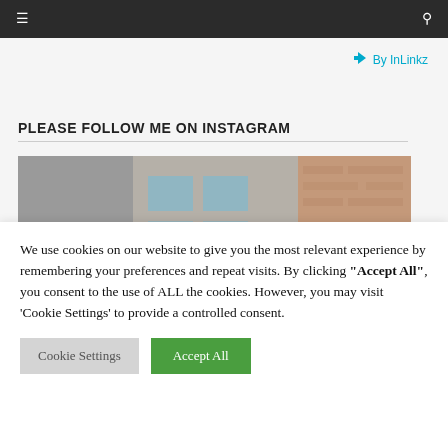≡  🔍
By InLinkz
PLEASE FOLLOW ME ON INSTAGRAM
[Figure (photo): Instagram photo showing a street scene with buildings, brick wall, and a person with a red hat]
We use cookies on our website to give you the most relevant experience by remembering your preferences and repeat visits. By clicking "Accept All", you consent to the use of ALL the cookies. However, you may visit 'Cookie Settings' to provide a controlled consent.
Cookie Settings   Accept All